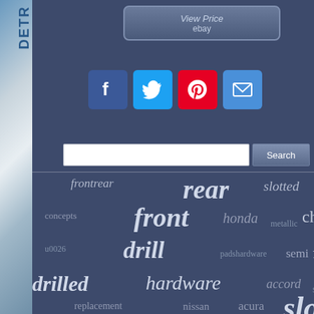[Figure (screenshot): eBay View Price button with dark blue/grey gradient styling]
[Figure (infographic): Social media share icons: Facebook (blue), Twitter (light blue), Pinterest (red), Email (blue)]
[Figure (screenshot): Search bar with text input field and Search button]
[Figure (infographic): Tag cloud with automotive parts keywords: frontrear, rear, slotted, concepts, front, honda, metallic, chevy, u0026, drill, padshardware, semi, ford, drilled, hardware, accord, silverado, replacement, nissan, acura, slot, rotors, pads, disc - displayed in varying sizes on dark blue background]